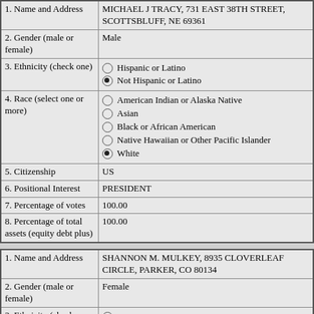| Field | Value |
| --- | --- |
| 1. Name and Address | MICHAEL J TRACY, 731 EAST 38TH STREET, SCOTTSBLUFF, NE 69361 |
| 2. Gender (male or female) | Male |
| 3. Ethnicity (check one) | ○ Hispanic or Latino
● Not Hispanic or Latino |
| 4. Race (select one or more) | ○ American Indian or Alaska Native
○ Asian
○ Black or African American
○ Native Hawaiian or Other Pacific Islander
● White |
| 5. Citizenship | US |
| 6. Positional Interest | PRESIDENT |
| 7. Percentage of votes | 100.00 |
| 8. Percentage of total assets (equity debt plus) | 100.00 |
| Field | Value |
| --- | --- |
| 1. Name and Address | SHANNON M. MULKEY, 8935 CLOVERLEAF CIRCLE, PARKER, CO 80134 |
| 2. Gender (male or female) | Female |
| 3. Ethnicity (check one) | ○ Hispanic or Latino |